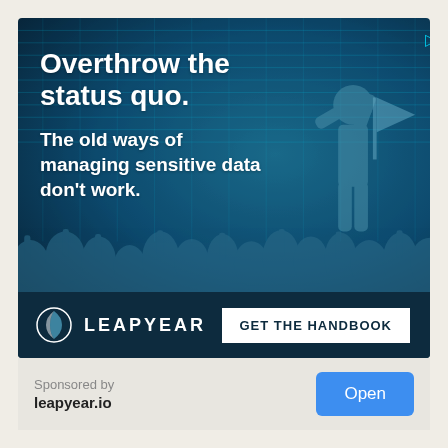[Figure (illustration): Leapyear advertisement banner with dark teal digital background showing binary/matrix pattern, silhouette of crowd with raised fists and a central figure holding a flag aloft. White bold text reads 'Overthrow the status quo. The old ways of managing sensitive data don't work.' Bottom bar shows Leapyear logo and 'GET THE HANDBOOK' button.]
Sponsored by
leapyear.io
Open